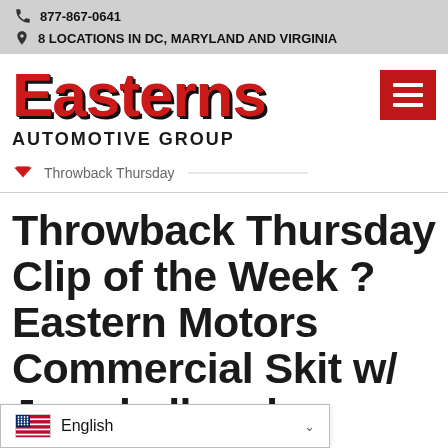877-867-0641
8 LOCATIONS IN DC, MARYLAND AND VIRGINIA
[Figure (logo): Easterns Automotive Group logo with red bold 'Easterns' text and black 'AUTOMOTIVE GROUP' below]
Throwback Thursday Clip of the Week ? Eastern Motors Commercial Skit w/ Ja...obell and
Throwback Thursday
English